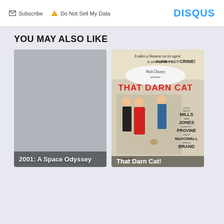[Figure (screenshot): Disqus comment section footer bar with Subscribe button, Do Not Sell My Data button, and DISQUS logo]
YOU MAY ALSO LIKE
[Figure (photo): Gray placeholder image card labeled '2001: A Space Odyssey']
[Figure (photo): Movie poster for 'That Darn Cat!' Walt Disney film featuring cast including Hayley Mills, Dean Jones, Dorothy Provine, Roddy McDowall, Neville Brand. Text: It takes a Siamese secret agent to unravel the PURR-FECT CRIME! Technicolor.]